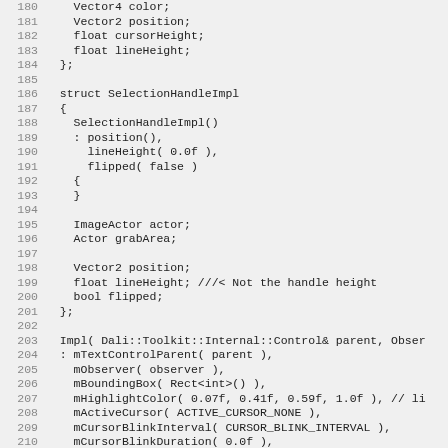Code listing lines 180-211, C++ source code showing struct definitions and constructor initializer list for a text control implementation in Dali toolkit.